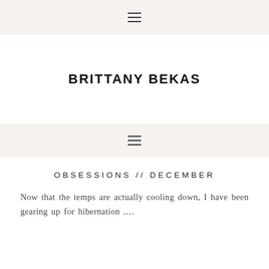≡
BRITTANY BEKAS
≡
OBSESSIONS // DECEMBER
Now that the temps are actually cooling down, I have been gearing up for hibernation ….